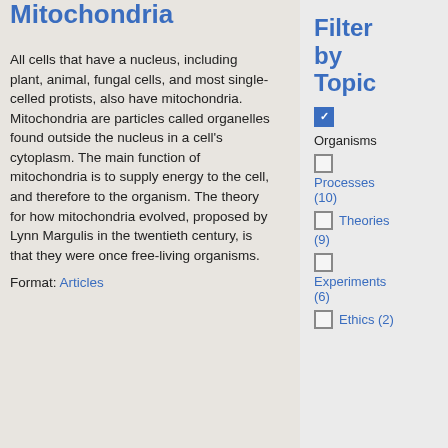Mitochondria
All cells that have a nucleus, including plant, animal, fungal cells, and most single-celled protists, also have mitochondria. Mitochondria are particles called organelles found outside the nucleus in a cell's cytoplasm. The main function of mitochondria is to supply energy to the cell, and therefore to the organism. The theory for how mitochondria evolved, proposed by Lynn Margulis in the twentieth century, is that they were once free-living organisms.
Format: Articles
Filter by Topic
☑ Organisms
☐ Processes (10)
☐ Theories (9)
☐ Experiments (6)
☐ Ethics (2)